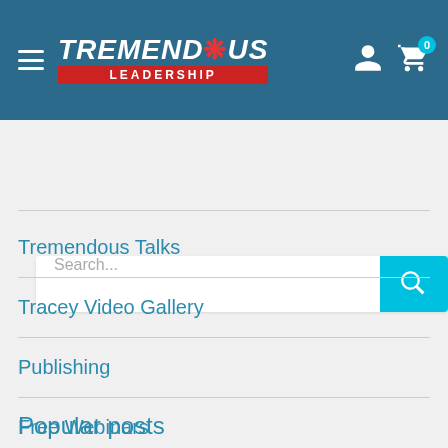[Figure (logo): Tremendous Leadership logo with hamburger menu, user icon, and cart icon with badge 0]
Search...
Tremendous Talks
Tracey Video Gallery
Publishing
Free Webinars
Upcoming Events
Popular posts